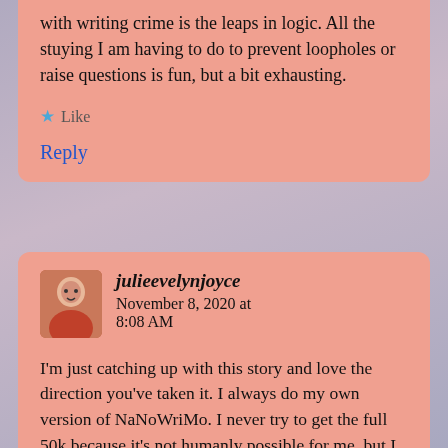with writing crime is the leaps in logic. All the stuying I am having to do to prevent loopholes or raise questions is fun, but a bit exhausting.
Like
Reply
julieevelynjoyce   November 8, 2020 at 8:08 AM
I'm just catching up with this story and love the direction you've taken it. I always do my own version of NaNoWriMo. I never try to get the full 50k because it's not humanly possible for me, but I make an effort to get at